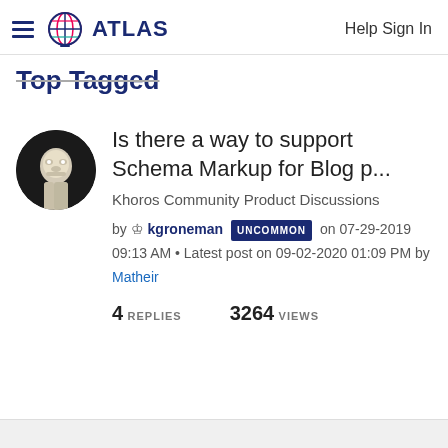ATLAS  Help Sign In
Top Tagged
[Figure (photo): Avatar photo of a skeleton sitting, circular crop]
Is there a way to support Schema Markup for Blog p...
Khoros Community Product Discussions
by kgroneman UNCOMMON on 07-29-2019 09:13 AM • Latest post on 09-02-2020 01:09 PM by Matheir
4 REPLIES   3264 VIEWS